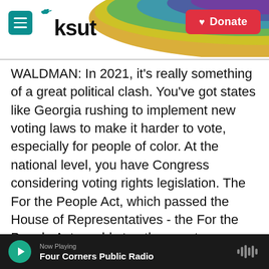KSUT
WALDMAN: In 2021, it's really something of a great political clash. You've got states like Georgia rushing to implement new voting laws to make it harder to vote, especially for people of color. At the national level, you have Congress considering voting rights legislation. The For the People Act, which passed the House of Representatives - the For the People Act would stop these voter suppression laws cold, stop them in their tracks. Which will prevail - the voter suppression wave in the states or the voting rights wave in Congress?
CORNISH: That's Michael Waldman from the
Now Playing
Four Corners Public Radio